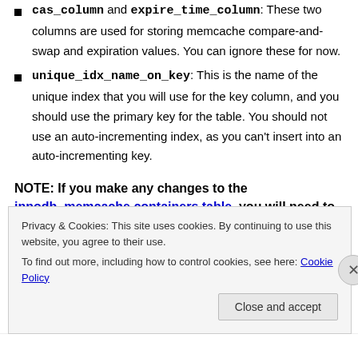cas_column and expire_time_column: These two columns are used for storing memcache compare-and-swap and expiration values. You can ignore these for now.
unique_idx_name_on_key: This is the name of the unique index that you will use for the key column, and you should use the primary key for the table. You should not use an auto-incrementing index, as you can't insert into an auto-incrementing key.
NOTE: If you make any changes to the innodb_memcache.containers table, you will need to
Privacy & Cookies: This site uses cookies. By continuing to use this website, you agree to their use. To find out more, including how to control cookies, see here: Cookie Policy